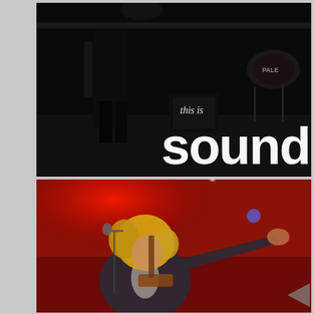[Figure (photo): Concert stage photo in dark/black tones showing a performer in black clothing and boots playing guitar on a dark stage with drum kit visible in background, overlaid with white italic text 'this is' and large white bold text 'soundch' (partially cropped)]
[Figure (photo): Concert photo with deep red stage lighting showing a curly-haired male guitarist singing at a microphone with one arm outstretched, playing a guitar. A bright red spotlight and white spotlight visible in background. A navigation arrow overlay visible bottom right.]